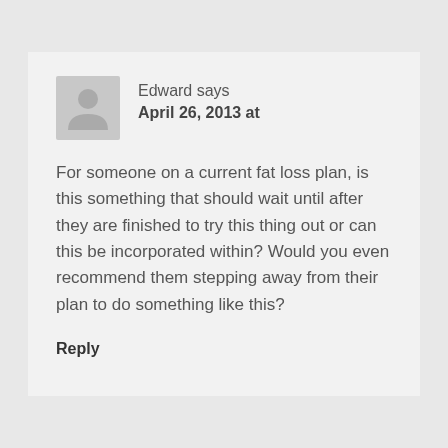Edward says
April 26, 2013 at
For someone on a current fat loss plan, is this something that should wait until after they are finished to try this thing out or can this be incorporated within? Would you even recommend them stepping away from their plan to do something like this?
Reply